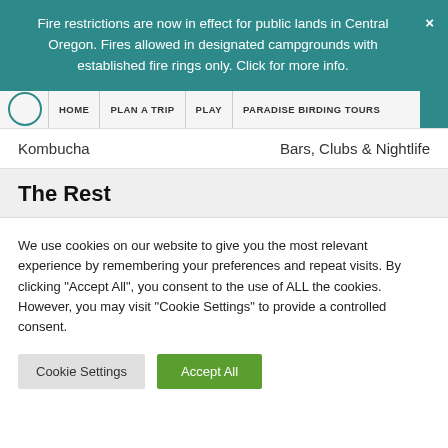Fire restrictions are now in effect for public lands in Central Oregon. Fires allowed in designated campgrounds with established fire rings only. Click for more info.
HOME  PLAN A TRIP  PLAY  PARADISE BIRDING TOURS
Kombucha	Bars, Clubs & Nightlife
The Rest
We use cookies on our website to give you the most relevant experience by remembering your preferences and repeat visits. By clicking "Accept All", you consent to the use of ALL the cookies. However, you may visit "Cookie Settings" to provide a controlled consent.
Cookie Settings  Accept All